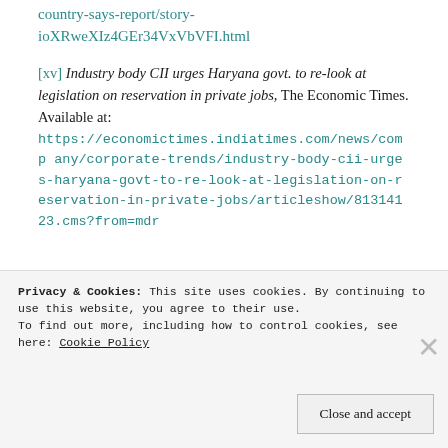country-says-report/story-ioXRweXIz4GEr34VxVbVFI.html
[xv] Industry body CII urges Haryana govt. to re-look at legislation on reservation in private jobs, The Economic Times. Available at: https://economictimes.indiatimes.com/news/company/corporate-trends/industry-body-cii-urges-haryana-govt-to-re-look-at-legislation-on-reservation-in-private-jobs/articleshow/81314123.cms?from=mdr
Privacy & Cookies: This site uses cookies. By continuing to use this website, you agree to their use. To find out more, including how to control cookies, see here: Cookie Policy